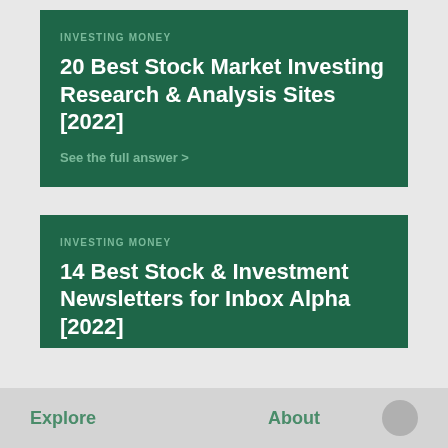INVESTING MONEY
20 Best Stock Market Investing Research & Analysis Sites [2022]
See the full answer >
INVESTING MONEY
14 Best Stock & Investment Newsletters for Inbox Alpha [2022]
See the full answer >
Explore   About